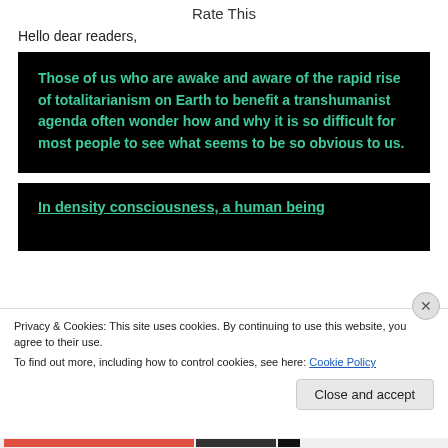Rate This
Hello dear readers,
[Figure (other): Black background box with green bold text: 'Those of us who are awake and aware of the rapid rise of totalitarianism on Earth to benefit a transhumanist agenda often wonder how and why it is so difficult for most people to see what seems to be so obvious to us.']
[Figure (other): Black background box with green bold text beginning: 'In density consciousness, a human being' (partially visible, cut off by cookie banner)]
Privacy & Cookies: This site uses cookies. By continuing to use this website, you agree to their use.
To find out more, including how to control cookies, see here: Cookie Policy